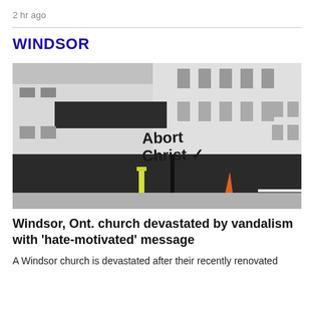2 hr ago
WINDSOR
[Figure (photo): Exterior of a white building with graffiti reading 'Abort Christ' in black letters on the wall, with a yellow bollard and orange construction cone visible in the foreground.]
Windsor, Ont. church devastated by vandalism with 'hate-motivated' message
A Windsor church is devastated after their recently renovated